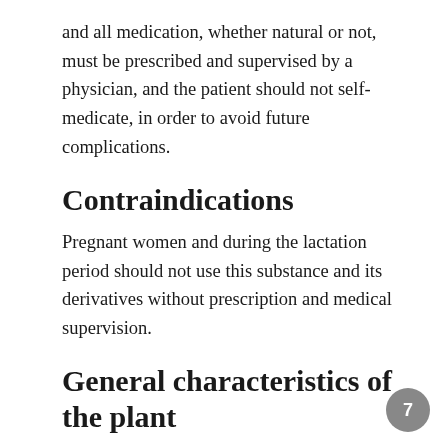and all medication, whether natural or not, must be prescribed and supervised by a physician, and the patient should not self-medicate, in order to avoid future complications.
Contraindications
Pregnant women and during the lactation period should not use this substance and its derivatives without prescription and medical supervision.
General characteristics of the plant
Monkey cane is a herbaceous species native to almost all of Brazil, mainly in the Atlantic Forest and the